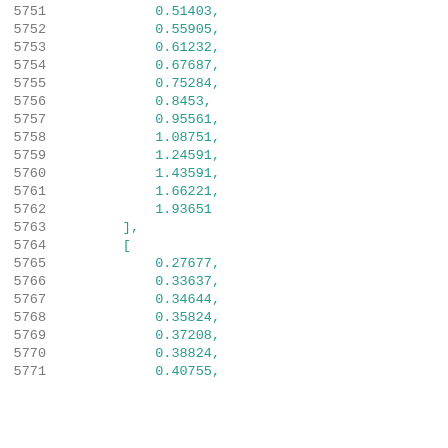Code listing lines 5751-5771 showing numeric array values and bracket delimiters